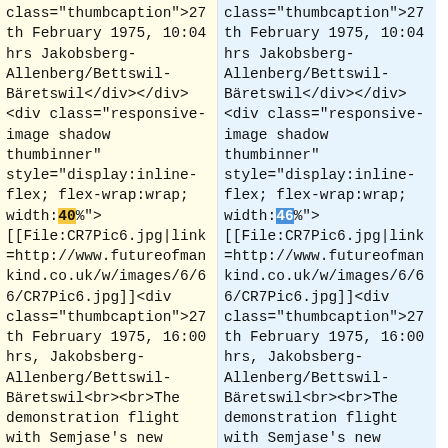class="thumbcaption">27 th February 1975, 10:04 hrs Jakobsberg-Allenberg/Bettswil-Bäretswil</div></div>
<div class="responsive-image shadow thumbinner" style="display:inline-flex; flex-wrap:wrap; width:40%">
[[File:CR7Pic6.jpg|link=http://www.futureofmankind.co.uk/w/images/6/66/CR7Pic6.jpg]]<div class="thumbcaption">27 th February 1975, 16:00 hrs, Jakobsberg-Allenberg/Bettswil-Bäretswil<br><br>The demonstration flight with Semjase's new beamship announced on 25th February. Close-up
class="thumbcaption">27 th February 1975, 10:04 hrs Jakobsberg-Allenberg/Bettswil-Bäretswil</div></div>
<div class="responsive-image shadow thumbinner" style="display:inline-flex; flex-wrap:wrap; width:46%">
[[File:CR7Pic6.jpg|link=http://www.futureofmankind.co.uk/w/images/6/66/CR7Pic6.jpg]]<div class="thumbcaption">27 th February 1975, 16:00 hrs, Jakobsberg-Allenberg/Bettswil-Bäretswil<br><br>The demonstration flight with Semjase's new beamship announced on 25th February. Close-up